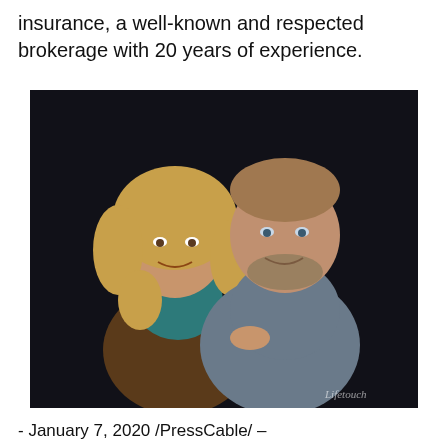insurance, a well-known and respected brokerage with 20 years of experience.
[Figure (photo): Professional portrait photo of a man and woman posing together against a dark background. The woman has curly blonde hair and wears a brown tweed jacket. The man has short hair, a beard, and wears a grey shirt. The photo has a 'Lifetouch' watermark in the bottom right corner.]
- January 7, 2020 /PressCable/ –